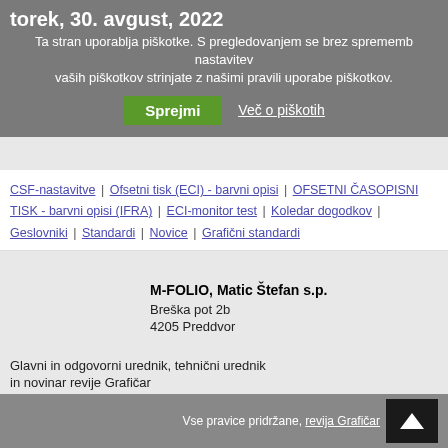torek, 30. avgust, 2022
Ta stran uporablja piškotke. S pregledovanjem se brez sprememb nastavitev vaših piškotkov strinjate z našimi pravili uporabe piškotkov.
Sprejmi | Več o piškotih
CSF-nastavitve | Ofsetni tisk (ECI) - barvni opisi | OFSETNI ČASOPISNI TISK - barvni opisi (IFRA) | ECI-monitor test | Koledar dogodkov | Geslovniki | Standardi | Novice | Grafični standardi
M-FOLIO, Matic Štefan s.p.
Breška pot 2b
4205 Preddvor
Glavni in odgovorni urednik, tehnični urednik in novinar revije Grafičar
Matic ŠTEFAN
Vse pravice pridržane, revija Grafičar